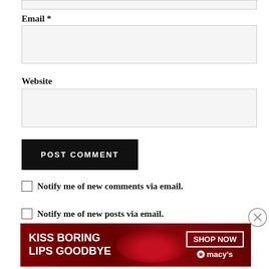Email *
[Figure (other): Empty email input text field]
Website
[Figure (other): Empty website input text field]
POST COMMENT
Notify me of new comments via email.
Notify me of new posts via email.
Advertisements
[Figure (infographic): Macy's advertisement banner: KISS BORING LIPS GOODBYE with SHOP NOW button and Macy's logo on red background]